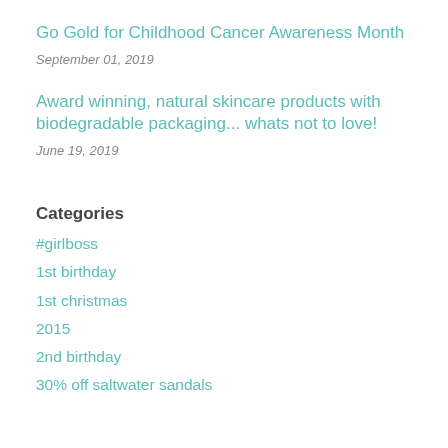Go Gold for Childhood Cancer Awareness Month
September 01, 2019
Award winning, natural skincare products with biodegradable packaging... whats not to love!
June 19, 2019
Categories
#girlboss
1st birthday
1st christmas
2015
2nd birthday
30% off saltwater sandals